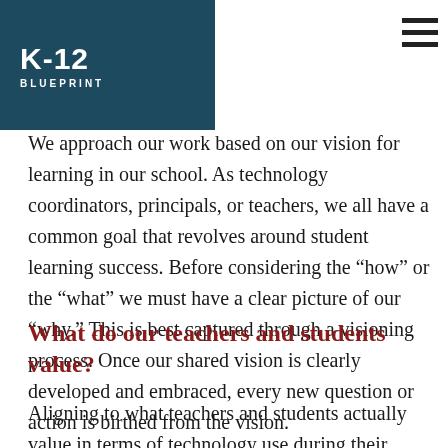K-12 BLUEPRINT
We approach our work based on our vision for learning in our school. As technology coordinators, principals, or teachers, we all have a common goal that revolves around student learning success. Before considering the “how” or the “what” we must have a clear picture of our “why.” This is best captured through a visioning process. Once our shared vision is clearly developed and embraced, every new question or action is birthed from the vision.
What do our teachers and students value?
Aligning to what teachers and students actually value in terms of technology use during their